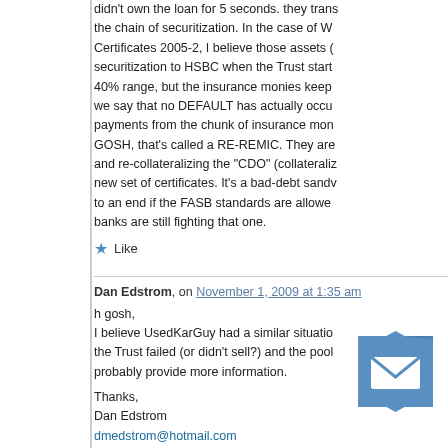didn't own the loan for 5 seconds. they trans the chain of securitization. In the case of W Certificates 2005-2, I believe those assets ( securitization to HSBC when the Trust start 40% range, but the insurance monies keep we say that no DEFAULT has actually occu payments from the chunk of insurance mon GOSH, that's called a RE-REMIC. They are and re-collateralizing the "CDO" (collateraliz new set of certificates. It's a bad-debt sandv to an end if the FASB standards are allowe banks are still fighting that one.
Like
Dan Edstrom, on November 1, 2009 at 1:35 am
h gosh,
I believe UsedKarGuy had a similar situatio the Trust failed (or didn't sell?) and the pool probably provide more information.

Thanks,
Dan Edstrom
dmedstrom@hotmail.com